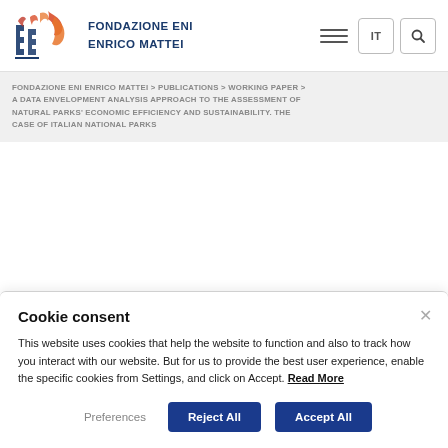[Figure (logo): Fondazione Eni Enrico Mattei logo with stylized flame/letters in red and blue, and FEEM text]
FONDAZIONE ENI ENRICO MATTEI > PUBLICATIONS > WORKING PAPER > A DATA ENVELOPMENT ANALYSIS APPROACH TO THE ASSESSMENT OF NATURAL PARKS' ECONOMIC EFFICIENCY AND SUSTAINABILITY. THE CASE OF ITALIAN NATIONAL PARKS
Cookie consent

This website uses cookies that help the website to function and also to track how you interact with our website. But for us to provide the best user experience, enable the specific cookies from Settings, and click on Accept. Read More
Preferences   Reject All   Accept All